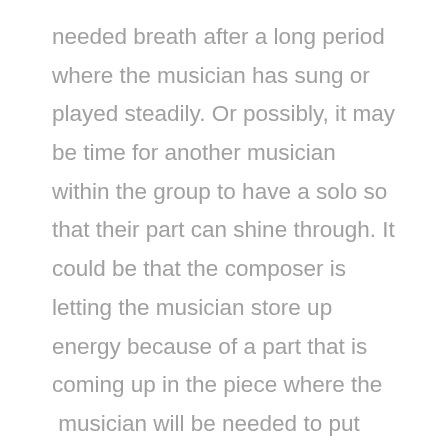needed breath after a long period where the musician has sung or played steadily.  Or possibly, it may be time for another musician within the group to have a solo so that their part can shine through.  It could be that the composer is letting the musician store up energy because of a part that is coming up in the piece where the  musician will be needed to put forth a maximum effort in order for a climactic moment in the song to occur.  Sometimes a writer will